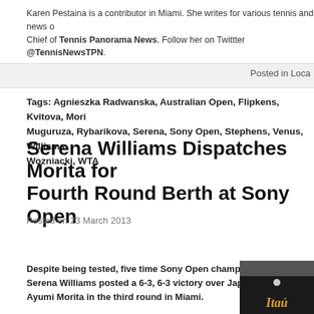Karen Pestaina is a contributor in Miami. She writes for various tennis and news o... Chief of Tennis Panorama News. Follow her on Twittter @TennisNewsTPN.
Posted in Loca...
Tags: Agnieszka Radwanska, Australian Open, Flipkens, Kvitova, Mori... Muguruza, Rybarikova, Serena, Sony Open, Stephens, Venus, Williams... Wozniacki, WTA
Serena Williams Dispatches Morita for Fourth Round Berth at Sony Open
Posted on 23 March 2013
Despite being tested, five time Sony Open champion Serena Williams posted a 6-3, 6-3 victory over Japan's Ayumi Morita in the third round in Miami.
This was the second career meeting between these ladies. Earlier this year, in Australia, the two
[Figure (photo): Photo showing Itaú bank signage/logo, dark background with orange italic Itaú text]